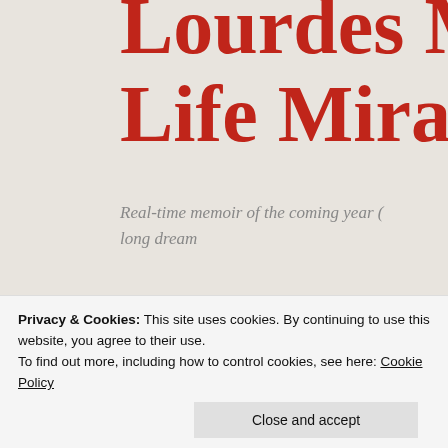Lourdes M... Life Mirac...
Real-time memoir of the coming year (... long dream
ARCHIVE FOR THE CATEGORY “RAN...
24
Here’s to doing some...
Privacy & Cookies: This site uses cookies. By continuing to use this website, you agree to their use.
To find out more, including how to control cookies, see here: Cookie Policy
Close and accept